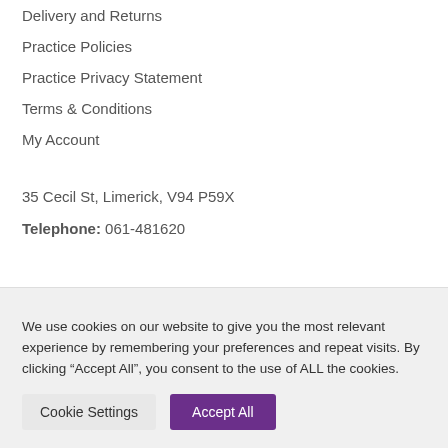Delivery and Returns
Practice Policies
Practice Privacy Statement
Terms & Conditions
My Account
35 Cecil St, Limerick, V94 P59X
Telephone: 061-481620
We use cookies on our website to give you the most relevant experience by remembering your preferences and repeat visits. By clicking “Accept All”, you consent to the use of ALL the cookies.